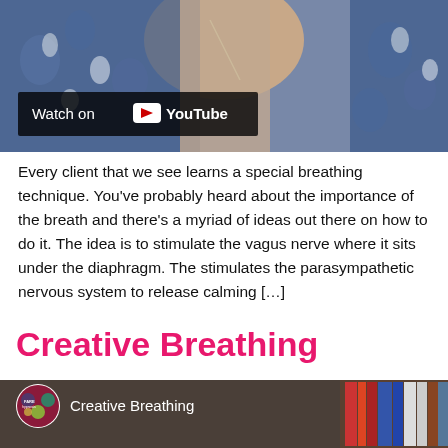[Figure (screenshot): YouTube video thumbnail showing a person in a blue floral top, with 'Watch on YouTube' overlay bar]
Every client that we see learns a special breathing technique. You've probably heard about the importance of the breath and there's a myriad of ideas out there on how to do it. The idea is to stimulate the vagus nerve where it sits under the diaphragm. The stimulates the parasympathetic nervous system to release calming […]
Creative Breathing
[Figure (screenshot): YouTube video thumbnail showing 'Creative Breathing' title with FARE hypnosis channel logo, person with reddish-brown hair visible from behind, bookshelf in background]